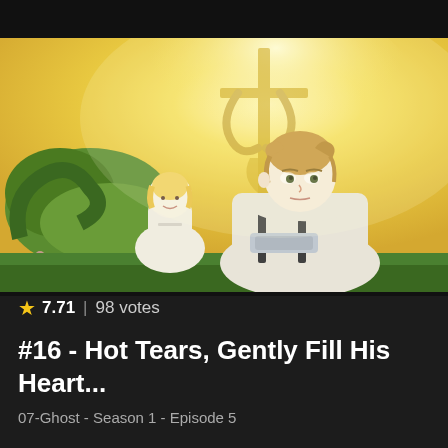[Figure (screenshot): Anime screenshot from 07-Ghost showing two characters in white robes in a bright golden/yellow outdoor setting with green foliage. One character with blonde hair is in the background, another with brown hair is in the foreground.]
★ 7.71 | 98 votes
#16 - Hot Tears, Gently Fill His Heart...
07-Ghost - Season 1 - Episode 5